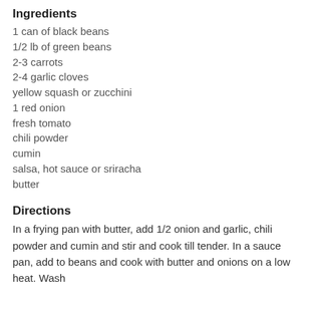Ingredients
1 can of black beans
1/2 lb of green beans
2-3 carrots
2-4 garlic cloves
yellow squash or zucchini
1 red onion
fresh tomato
chili powder
cumin
salsa, hot sauce or sriracha
butter
Directions
In a frying pan with butter, add 1/2 onion and garlic, chili powder and cumin and stir and cook till tender. In a sauce pan, add to beans and cook with butter and onions on a low heat. Wash...